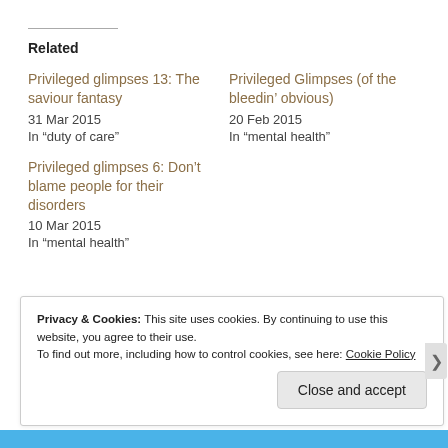Related
Privileged glimpses 13: The saviour fantasy
31 Mar 2015
In "duty of care"
Privileged Glimpses (of the bleedin’ obvious)
20 Feb 2015
In "mental health"
Privileged glimpses 6: Don’t blame people for their disorders
10 Mar 2015
In "mental health"
Privacy & Cookies: This site uses cookies. By continuing to use this website, you agree to their use.
To find out more, including how to control cookies, see here: Cookie Policy
Close and accept